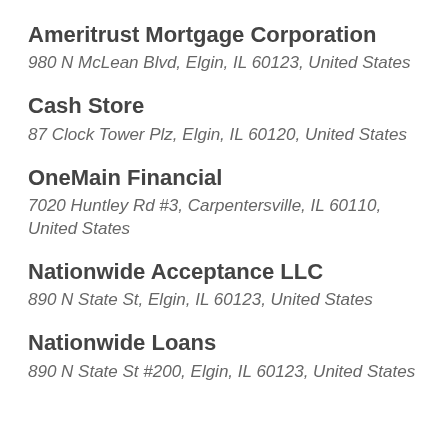Ameritrust Mortgage Corporation
980 N McLean Blvd, Elgin, IL 60123, United States
Cash Store
87 Clock Tower Plz, Elgin, IL 60120, United States
OneMain Financial
7020 Huntley Rd #3, Carpentersville, IL 60110, United States
Nationwide Acceptance LLC
890 N State St, Elgin, IL 60123, United States
Nationwide Loans
890 N State St #200, Elgin, IL 60123, United States